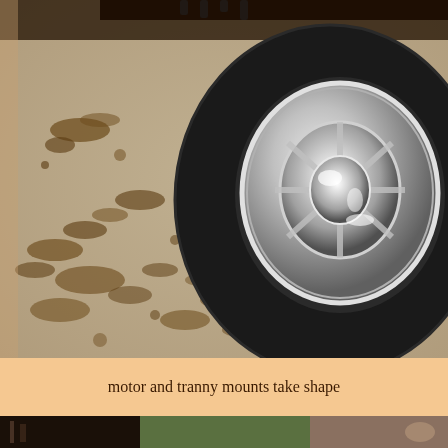[Figure (photo): Close-up photograph of a car tire and chrome wheel/hubcap on a dirty concrete garage floor with mud splatters. The chrome spinner-style wheel is shiny and reflects light. The concrete floor has brown mud stains.]
motor and tranny mounts take shape
[Figure (photo): Partial view of another photograph at the bottom of the page, partially cut off, showing what appears to be a garage or workshop setting.]